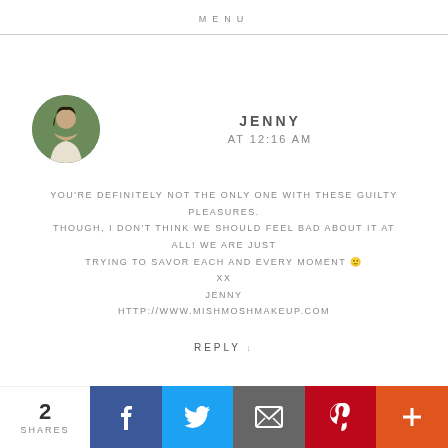MENU
[Figure (photo): Circular avatar photo of a dark-haired woman outdoors]
JENNY
AT 12:16 AM
YOU'RE DEFINITELY NOT THE ONLY ONE WITH THESE GUILTY PLEASURES. THOUGH, I DON'T THINK WE SHOULD FEEL BAD ABOUT IT AT ALL! WE ARE JUST TRYING TO SAVOR EACH AND EVERY MOMENT 🙂
XX
JENNY
HTTP://WWW.MISHMOSHMAKEUP.COM
REPLY ↓
2
SHARES